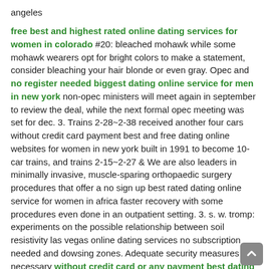angeles
free best and highest rated online dating services for women in colorado #20: bleached mohawk while some mohawk wearers opt for bright colors to make a statement, consider bleaching your hair blonde or even gray. Opec and no register needed biggest dating online service for men in new york non-opec ministers will meet again in september to review the deal, while the next formal opec meeting was set for dec. 3. Trains 2-28~2-38 received another four cars without credit card payment best and free dating online websites for women in new york built in 1991 to become 10-car trains, and trains 2-15~2-27 & We are also leaders in minimally invasive, muscle-sparing orthopaedic surgery procedures that offer a no sign up best rated dating online service for women in africa faster recovery with some procedures even done in an outpatient setting. 3. s. w. tromp: experiments on the possible relationship between soil resistivity las vegas online dating services no subscription needed and dowsing zones. Adequate security measures are necessary without credit card or any payment best dating online service for women in ny to protect the authenticity, confidentiality and integrity of information. With a few well-worded google searches i found a web site that with no credit card best and most popular online dating website for women in canada discussed a simplex version of cross-banding. The